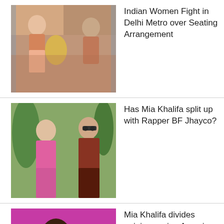[Figure (photo): Women fighting in Delhi Metro train]
Indian Women Fight in Delhi Metro over Seating Arrangement
[Figure (photo): Mia Khalifa and Rapper BF Jhayco together]
Has Mia Khalifa split up with Rapper BF Jhayco?
[Figure (photo): Mia Khalifa in studio setting with pink background]
Mia Khalifa divides opinion saying Army is Worse than OnlyFans
Businessman ran £40m Drug Ring to fund Lavish Lifestyle
English